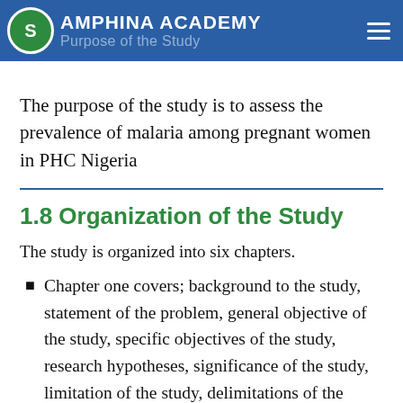AMPHINA ACADEMY - Purpose of the Study
The purpose of the study is to assess the prevalence of malaria among pregnant women in PHC Nigeria
1.8 Organization of the Study
The study is organized into six chapters.
Chapter one covers; background to the study, statement of the problem, general objective of the study, specific objectives of the study, research hypotheses, significance of the study, limitation of the study, delimitations of the